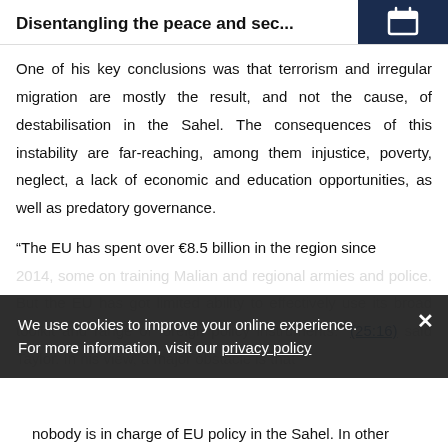Disentangling the peace and sec...
One of his key conclusions was that terrorism and irregular migration are mostly the result, and not the cause, of destabilisation in the Sahel. The consequences of this instability are far-reaching, among them injustice, poverty, neglect, a lack of economic and education opportunities, as well as predatory governance.
“The EU has spent over €8.5 billion in the region since 2014, some on training Malian and regional armies and police. But the EU has got limited ability to effectively use its broad toolkit and range of foreign policy instruments.” (25:16) said Taylor. In his view, a major obstacle is that nobody is in charge of EU policy in the Sahel. In other
We use cookies to improve your online experience.
For more information, visit our privacy policy